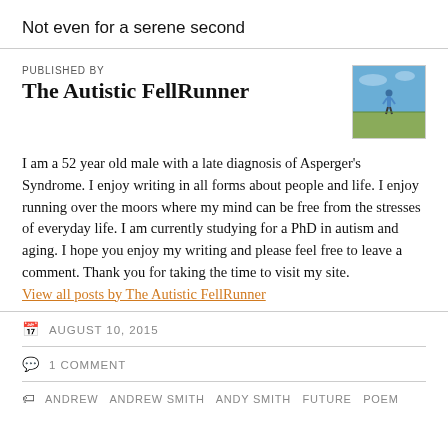Not even for a serene second
PUBLISHED BY
The Autistic FellRunner
[Figure (photo): Author photo: person standing outdoors on a hilltop under blue sky]
I am a 52 year old male with a late diagnosis of Asperger's Syndrome. I enjoy writing in all forms about people and life. I enjoy running over the moors where my mind can be free from the stresses of everyday life. I am currently studying for a PhD in autism and aging. I hope you enjoy my writing and please feel free to leave a comment. Thank you for taking the time to visit my site.
View all posts by The Autistic FellRunner
AUGUST 10, 2015
1 COMMENT
ANDREW  ANDREW SMITH  ANDY SMITH  FUTURE  POEM